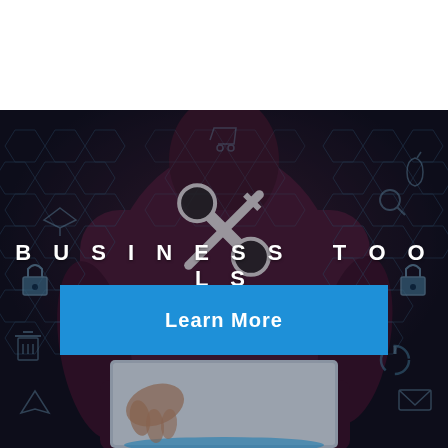[Figure (photo): Dark tech-themed background image showing a person in a dark shirt interacting with a glowing digital tablet, overlaid with hexagonal grid patterns and icons (lock, tools, wrench, etc.). The image has a dark blue-gray tone.]
BUSINESS TOOLS
Learn More